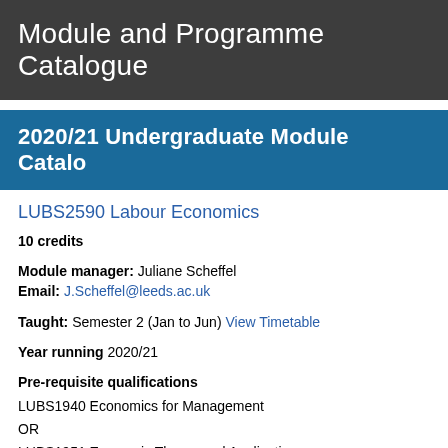Module and Programme Catalogue
2020/21 Undergraduate Module Catalogue
LUBS2590 Labour Economics
10 credits
Module manager: Juliane Scheffel
Email: J.Scheffel@leeds.ac.uk
Taught: Semester 2 (Jan to Jun) View Timetable
Year running 2020/21
Pre-requisite qualifications
LUBS1940 Economics for Management
OR
LUBS1951 Economic Theory and Applications
OR